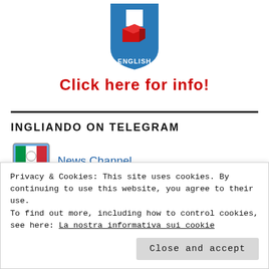[Figure (logo): App icon with blue badge shape, white square and red 3D box shape, labeled ENGLISH at bottom]
Click here for info!
INGLIANDO ON TELEGRAM
[Figure (screenshot): Monitor icon with flags for News Channel link]
News Channel
Privacy & Cookies: This site uses cookies. By continuing to use this website, you agree to their use.
To find out more, including how to control cookies, see here: La nostra informativa sui cookie
Close and accept
Fun Channel